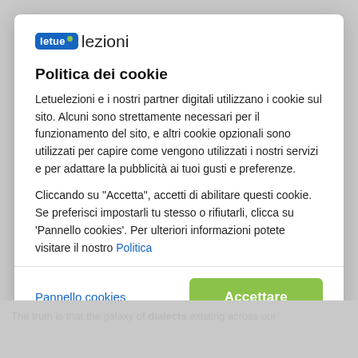[Figure (logo): letue lezioni logo — blue box with 'letue' text and green dot, followed by 'lezioni' in dark text]
Politica dei cookie
Letuelezioni e i nostri partner digitali utilizzano i cookie sul sito. Alcuni sono strettamente necessari per il funzionamento del sito, e altri cookie opzionali sono utilizzati per capire come vengono utilizzati i nostri servizi e per adattare la pubblicità ai tuoi gusti e preferenze.
Cliccando su "Accetta", accetti di abilitare questi cookie. Se preferisci impostarli tu stesso o rifiutarli, clicca su 'Pannello cookies'. Per ulteriori informazioni potete visitare il nostro Politica
Pannello cookies
Accettare
The truth is that the galaxy of dialects existing across our